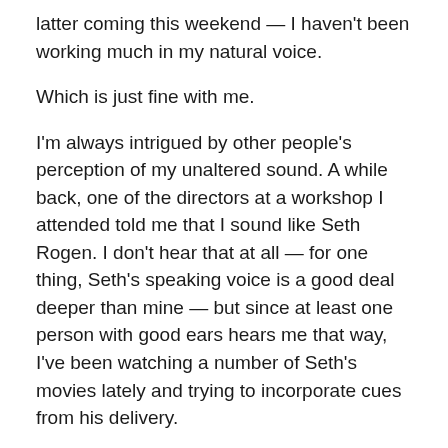latter coming this weekend — I haven't been working much in my natural voice.
Which is just fine with me.
I'm always intrigued by other people's perception of my unaltered sound. A while back, one of the directors at a workshop I attended told me that I sound like Seth Rogen. I don't hear that at all — for one thing, Seth's speaking voice is a good deal deeper than mine — but since at least one person with good ears hears me that way, I've been watching a number of Seth's movies lately and trying to incorporate cues from his delivery.
In the workshop I took last weekend, the rest of the group was convinced that I'm a vocal ringer for Albert Brooks. That one makes more sense to me — Brooks's flat,